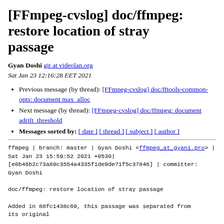[FFmpeg-cvslog] doc/ffmpeg: restore location of stray passage
Gyan Doshi git at videolan.org
Sat Jan 23 12:16:28 EET 2021
Previous message (by thread): [FFmpeg-cvslog] doc/fftools-common-opts: document max_alloc
Next message (by thread): [FFmpeg-cvslog] doc/ffmpeg: document adrift_threshold
Messages sorted by: [ date ] [ thread ] [ subject ] [ author ]
ffmpeg | branch: master | Gyan Doshi <ffmpeg_at_gyani.pro> | Sat Jan 23 15:59:52 2021 +0530|
[e8b46b2c73a89c3554a4335f1de9de71f5c37846] | committer: Gyan Doshi

doc/ffmpeg: restore location of stray passage

Added in 88fc1438c69, this passage was separated from its original